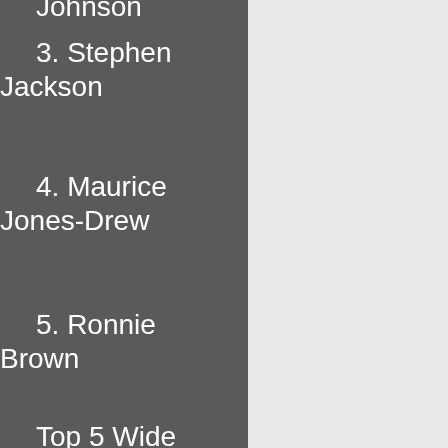Johnson
3. Stephen Jackson
4. Maurice Jones-Drew
5. Ronnie Brown
Top 5 Wide Receivers
1. Randy Moss
2. Andre...